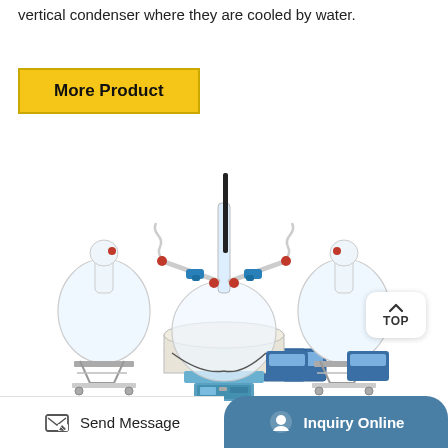vertical condenser where they are cooled by water.
More Product
[Figure (photo): Laboratory short-path distillation apparatus showing a central round-bottom flask on a heating mantle, two large collection flasks on scissor-jack stands on either side, connected by glass tubing with blue and red stopcocks, condensers, and digital controllers.]
Send Message | Inquiry Online